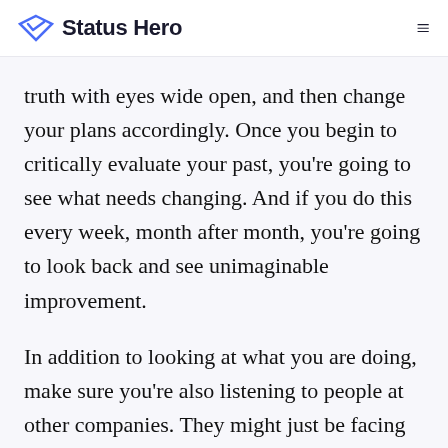Status Hero
truth with eyes wide open, and then change your plans accordingly. Once you begin to critically evaluate your past, you’re going to see what needs changing. And if you do this every week, month after month, you’re going to look back and see unimaginable improvement.
In addition to looking at what you are doing, make sure you’re also listening to people at other companies. They might just be facing